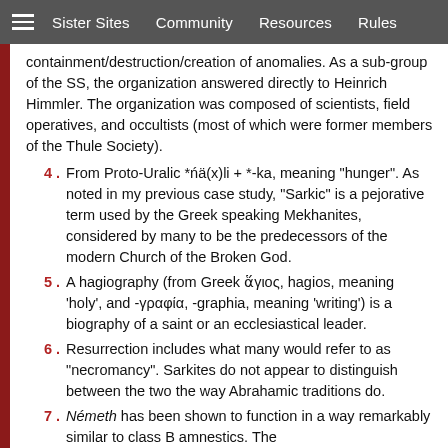Sister Sites   Community   Resources   Rules
containment/destruction/creation of anomalies. As a sub-group of the SS, the organization answered directly to Heinrich Himmler. The organization was composed of scientists, field operatives, and occultists (most of which were former members of the Thule Society).
4. From Proto-Uralic *ńä(x)li + *-ka, meaning "hunger". As noted in my previous case study, "Sarkic" is a pejorative term used by the Greek speaking Mekhanites, considered by many to be the predecessors of the modern Church of the Broken God.
5. A hagiography (from Greek ἅγιος, hagios, meaning 'holy', and -γραφία, -graphia, meaning 'writing') is a biography of a saint or an ecclesiastical leader.
6. Resurrection includes what many would refer to as "necromancy". Sarkites do not appear to distinguish between the two the way Abrahamic traditions do.
7. Németh has been shown to function in a way remarkably similar to class B amnestics. The